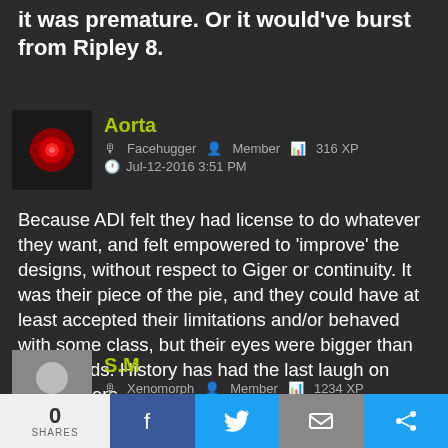it was premature. Or it would've burst from Ripley 8.
Aorta
Facehugger   Member   316 XP
Jul-12-2016 3:51 PM
Because ADI felt they had license to do whatever they want, and felt empowered to 'improve' the designs, without respect to Giger or continuity. It was their piece of the pie, and they could have at least accepted their limitations and/or behaved with some class, but their eyes were bigger than their heads. History has had the last laugh on those jokers.
S.M
Xenomorph   Member   1234 XP
0 SHARES